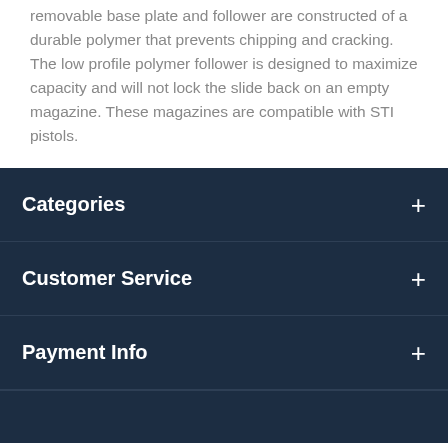removable base plate and follower are constructed of a durable polymer that prevents chipping and cracking. The low profile polymer follower is designed to maximize capacity and will not lock the slide back on an empty magazine. These magazines are compatible with STI pistols.
Categories
Customer Service
Payment Info